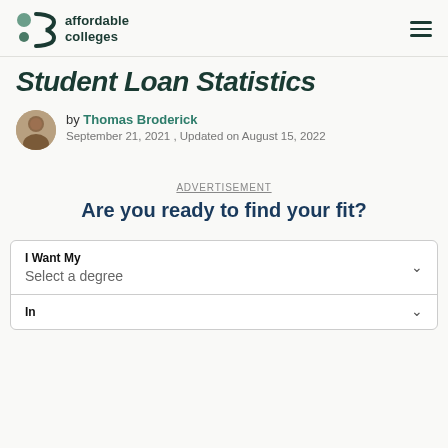affordable colleges
Student Loan Statistics
by Thomas Broderick
September 21, 2021 , Updated on August 15, 2022
ADVERTISEMENT
Are you ready to find your fit?
I Want My
Select a degree
In